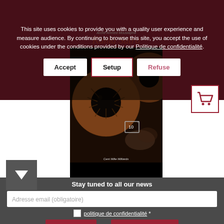[Figure (screenshot): Book cover for 'Kama Sutra' by Arché Ahmed Moustapha, showing a close-up eye image on a dark red and black background with text 'Cent Mille Milliards']
This site uses cookies to provide you with a quality user experience and measure audience. By continuing to browse this site, you accept the use of cookies under the conditions provided by our Politique de confidentialité.
Accept
Setup
Refuse
Stay tuned to all our news
Adresse email (obligatoire)
politique de confidentialité *
Subscribe
ou
Choisir les détails